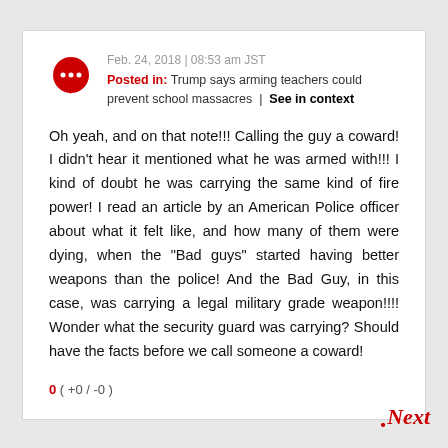Feb. 24, 2018 | 08:53 am JST
Posted in: Trump says arming teachers could prevent school massacres | See in context
Oh yeah, and on that note!!! Calling the guy a coward! I didn't hear it mentioned what he was armed with!!! I kind of doubt he was carrying the same kind of fire power! I read an article by an American Police officer about what it felt like, and how many of them were dying, when the "Bad guys" started having better weapons than the police! And the Bad Guy, in this case, was carrying a legal military grade weapon!!!! Wonder what the security guard was carrying? Should have the facts before we call someone a coward!
0 ( +0 / -0 )
.Next